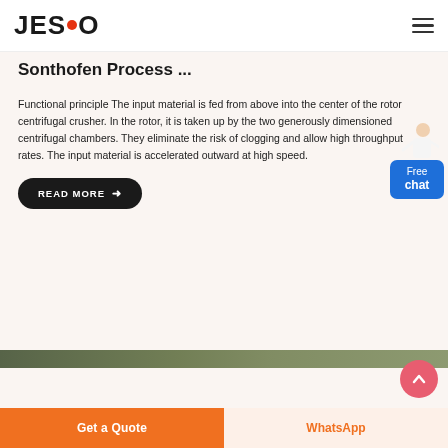JESCO
Sonthofen Process ...
Functional principle The input material is fed from above into the center of the rotor centrifugal crusher. In the rotor, it is taken up by the two generously dimensioned centrifugal chambers. They eliminate the risk of clogging and allow high throughput rates. The input material is accelerated outward at high speed.
READ MORE →
[Figure (illustration): Free chat widget with illustrated woman figure and blue box labeled 'Free chat']
[Figure (illustration): Pink circular scroll-to-top button with upward chevron arrow]
[Figure (photo): Partial bottom strip showing outdoor/landscape image]
Get a Quote
WhatsApp